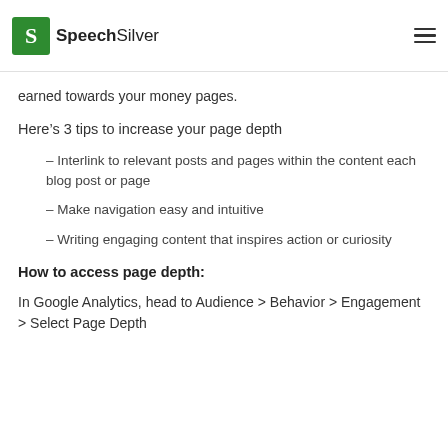SpeechSilver
Your goal is to increase the user page depth, especially through content marketing and want to direct the attention you have earned towards your money pages.
Here’s 3 tips to increase your page depth
– Interlink to relevant posts and pages within the content each blog post or page
– Make navigation easy and intuitive
– Writing engaging content that inspires action or curiosity
How to access page depth:
In Google Analytics, head to Audience > Behavior > Engagement > Select Page Depth